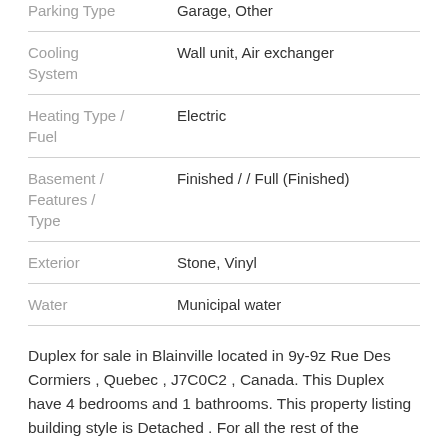| Property | Value |
| --- | --- |
| Parking Type | Garage, Other |
| Cooling System | Wall unit, Air exchanger |
| Heating Type / Fuel | Electric |
| Basement / Features / Type | Finished / / Full (Finished) |
| Exterior | Stone, Vinyl |
| Water | Municipal water |
Duplex for sale in Blainville located in 9y-9z Rue Des Cormiers , Quebec , J7C0C2 , Canada. This Duplex have 4 bedrooms and 1 bathrooms. This property listing building style is Detached . For all the rest of the information please about this property...